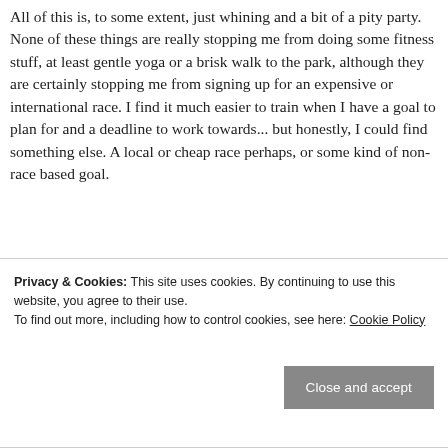All of this is, to some extent, just whining and a bit of a pity party. None of these things are really stopping me from doing some fitness stuff, at least gentle yoga or a brisk walk to the park, although they are certainly stopping me from signing up for an expensive or international race. I find it much easier to train when I have a goal to plan for and a deadline to work towards... but honestly, I could find something else. A local or cheap race perhaps, or some kind of non-race based goal.
Privacy & Cookies: This site uses cookies. By continuing to use this website, you agree to their use. To find out more, including how to control cookies, see here: Cookie Policy
Close and accept